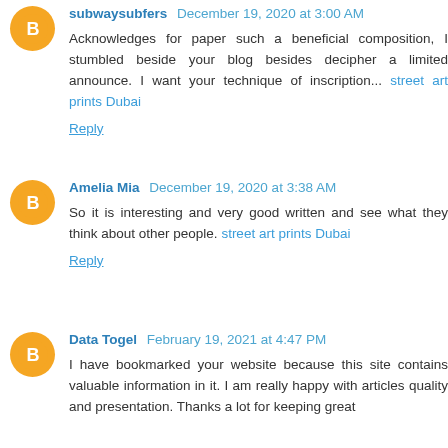subwaysubfers December 19, 2020 at 3:00 AM
Acknowledges for paper such a beneficial composition, I stumbled beside your blog besides decipher a limited announce. I want your technique of inscription... street art prints Dubai
Reply
Amelia Mia December 19, 2020 at 3:38 AM
So it is interesting and very good written and see what they think about other people. street art prints Dubai
Reply
Data Togel February 19, 2021 at 4:47 PM
I have bookmarked your website because this site contains valuable information in it. I am really happy with articles quality and presentation. Thanks a lot for keeping great